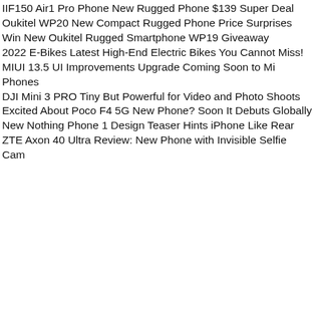IIF150 Air1 Pro Phone New Rugged Phone $139 Super Deal
Oukitel WP20 New Compact Rugged Phone Price Surprises
Win New Oukitel Rugged Smartphone WP19 Giveaway
2022 E-Bikes Latest High-End Electric Bikes You Cannot Miss!
MIUI 13.5 UI Improvements Upgrade Coming Soon to Mi Phones
DJI Mini 3 PRO Tiny But Powerful for Video and Photo Shoots
Excited About Poco F4 5G New Phone? Soon It Debuts Globally
New Nothing Phone 1 Design Teaser Hints iPhone Like Rear
ZTE Axon 40 Ultra Review: New Phone with Invisible Selfie Cam